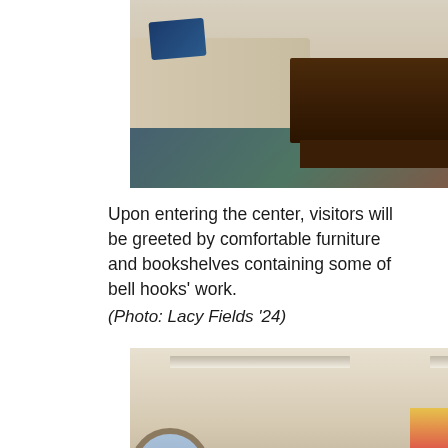[Figure (photo): Interior photo of a comfortable lounge area showing sofas, decorative pillows, a dark wood coffee table, and an ornate patterned rug on the floor.]
Upon entering the center, visitors will be greeted by comfortable furniture and bookshelves containing some of bell hooks' work.
(Photo: Lacy Fields '24)
[Figure (photo): Interior hallway or lobby of a center with fluorescent ceiling lights, colorful banners and murals on the walls, an arched window on the left, and a person visible in the background.]